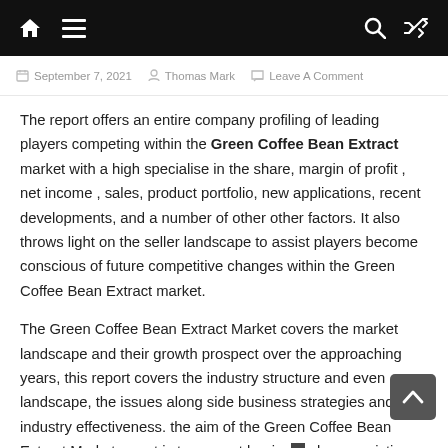[ Home ] [ Menu ] [ Search ] [ Shuffle ]
September 7, 2021   Thomas Mark   Leave A Comment
The report offers an entire company profiling of leading players competing within the Green Coffee Bean Extract market with a high specialise in the share, margin of profit , net income , sales, product portfolio, new applications, recent developments, and a number of other other factors. It also throws light on the seller landscape to assist players become conscious of future competitive changes within the Green Coffee Bean Extract market.
The Green Coffee Bean Extract Market covers the market landscape and their growth prospect over the approaching years, this report covers the industry structure and even landscape, the issues along side business strategies and industry effectiveness. the aim of the Green Coffee Bean Extract Market report is to support beginner also as existing players in gaining insightful Portable Particle Counter and data-assisted decision-supported it...